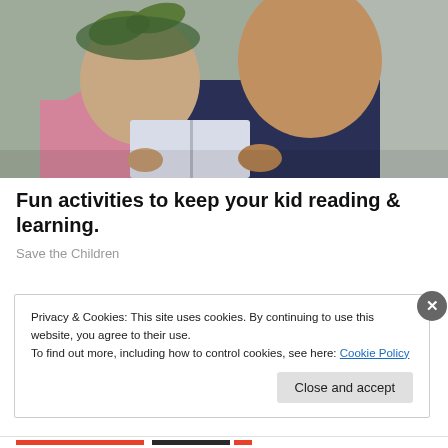[Figure (photo): Two children reading a book together — a baby wearing a green bow headband and pink outfit, and an older boy in a dark navy shirt, sitting on a grey couch.]
Fun activities to keep your kid reading & learning.
Save the Children
Privacy & Cookies: This site uses cookies. By continuing to use this website, you agree to their use.
To find out more, including how to control cookies, see here: Cookie Policy
Close and accept